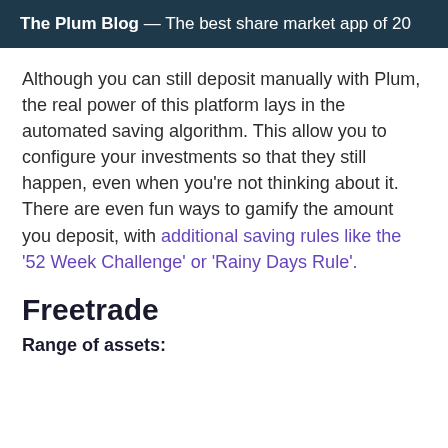The Plum Blog — The best share market app of 20
Although you can still deposit manually with Plum, the real power of this platform lays in the automated saving algorithm. This allow you to configure your investments so that they still happen, even when you're not thinking about it. There are even fun ways to gamify the amount you deposit, with additional saving rules like the '52 Week Challenge' or 'Rainy Days Rule'.
Freetrade
Range of assets: